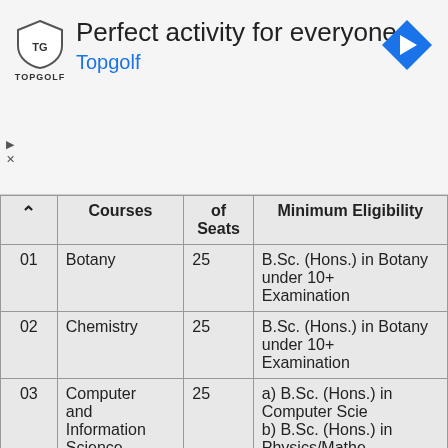[Figure (other): Topgolf advertisement banner with shield logo, title 'Perfect activity for everyone', subtitle 'Topgolf', and a blue navigation arrow icon]
| ^ | Courses | of Seats | Minimum Eligibility |
| --- | --- | --- | --- |
| 01 | Botany | 25 | B.Sc. (Hons.) in Botany under 10+ Examination |
| 02 | Chemistry | 25 | B.Sc. (Hons.) in Botany under 10+ Examination |
| 03 | Computer and Information Science | 25 | a) B.Sc. (Hons.) in Computer Scie... b) B.Sc. (Hons.) in Physics/Mathe... candidates having one full paper in U.G. Course will be given prefe... c) BCA |
| 04 | Mathematics | 35 | B.Sc. (Hons.) in Mathematics und... Examination |